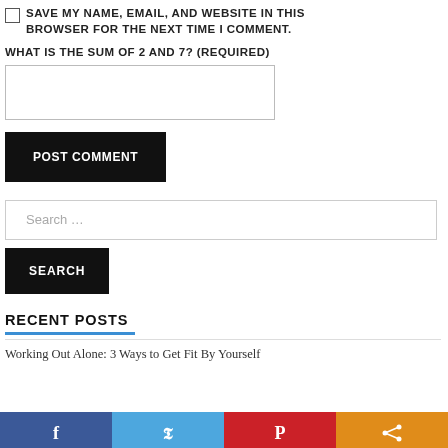SAVE MY NAME, EMAIL, AND WEBSITE IN THIS BROWSER FOR THE NEXT TIME I COMMENT.
WHAT IS THE SUM OF 2 AND 7? (REQUIRED)
[Figure (other): Text input field for answering the sum question]
[Figure (other): POST COMMENT button - black background, white text]
[Figure (other): Search input field with placeholder text 'Search ...']
[Figure (other): SEARCH button - black background, white text]
RECENT POSTS
Working Out Alone: 3 Ways to Get Fit By Yourself
[Figure (other): Social share bar with Facebook, Twitter, Pinterest, and share buttons]